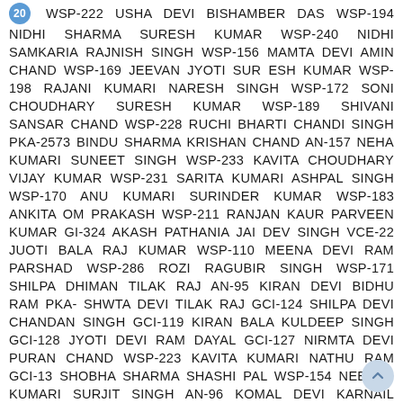20 WSP-222 USHA DEVI BISHAMBER DAS WSP-194 NIDHI SHARMA SURESH KUMAR WSP-240 NIDHI SAMKARIA RAJNISH SINGH WSP-156 MAMTA DEVI AMIN CHAND WSP-169 JEEVAN JYOTI SUR ESH KUMAR WSP-198 RAJANI KUMARI NARESH SINGH WSP-172 SONI CHOUDHARY SURESH KUMAR WSP-189 SHIVANI SANSAR CHAND WSP-228 RUCHI BHARTI CHANDI SINGH PKA-2573 BINDU SHARMA KRISHAN CHAND AN-157 NEHA KUMARI SUNEET SINGH WSP-233 KAVITA CHOUDHARY VIJAY KUMAR WSP-231 SARITA KUMARI ASHPAL SINGH WSP-170 ANU KUMARI SURINDER KUMAR WSP-183 ANKITA OM PRAKASH WSP-211 RANJAN KAUR PARVEEN KUMAR GI-324 AKASH PATHANIA JAI DEV SINGH VCE-22 JUOTI BALA RAJ KUMAR WSP-110 MEENA DEVI RAM PARSHAD WSP-286 ROZI RAGUBIR SINGH WSP-171 SHILPA DHIMAN TILAK RAJ AN-95 KIRAN DEVI BIDHU RAM PKA- SHWTA DEVI TILAK RAJ GCI-124 SHILPA DEVI CHANDAN SINGH GCI-119 KIRAN BALA KULDEEP SINGH GCI-128 JYOTI DEVI RAM DAYAL GCI-127 NIRMTA DEVI PURAN CHAND WSP-223 KAVITA KUMARI NATHU RAM GCI-13 SHOBHA SHARMA SHASHI PAL WSP-154 NEELAM KUMARI SURJIT SINGH AN-96 KOMAL DEVI KARNAIL SINGH GCI-131 RAJINDER SINGH GURBACHAN SINGH